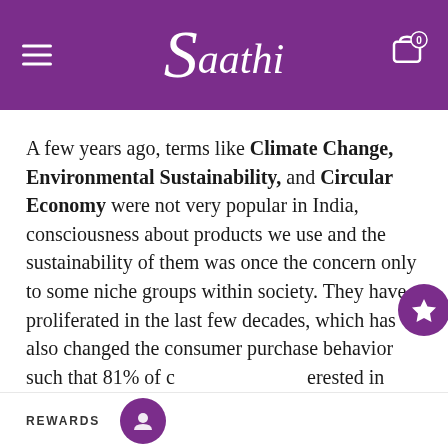Saathi
A few years ago, terms like Climate Change, Environmental Sustainability, and Circular Economy were not very popular in India, consciousness about products we use and the sustainability of them was once the concern only to some niche groups within society. They have proliferated in the last few decades, which has also changed the consumer purchase behavior such that 81% of c[onsumers are int]erested in purchasing eco-t[he ... ] products.